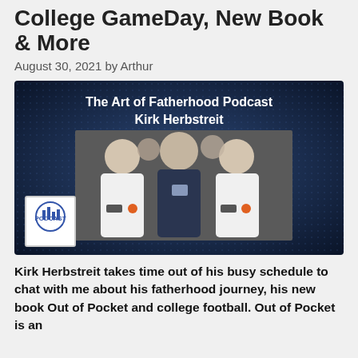College GameDay, New Book & More
August 30, 2021 by Arthur
[Figure (photo): The Art of Fatherhood Podcast Kirk Herbstreit — podcast thumbnail image showing Kirk Herbstreit with two young men wearing Clemson hoodies, with a podcast logo in the bottom left corner.]
Kirk Herbstreit takes time out of his busy schedule to chat with me about his fatherhood journey, his new book Out of Pocket and college football. Out of Pocket is an